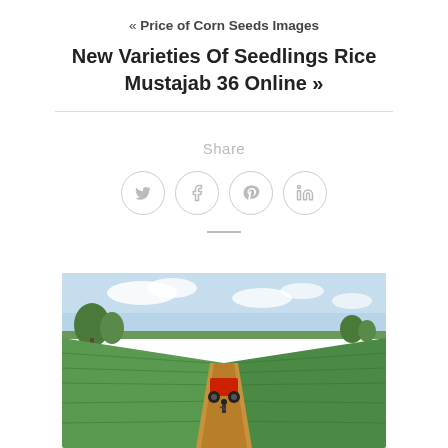« Price of Corn Seeds Images
New Varieties Of Seedlings Rice Mustajab 36 Online »
Share
[Figure (illustration): Four social media icon circles: Twitter (bird), Facebook (f), Pinterest (p), LinkedIn (in)]
[Figure (photo): Aerial/ground view of a large green agricultural field with rows of crops, a dirt path running down the center, a red tractor with a person standing near it in the middle distance, and trees on the horizon under a partly cloudy sky.]